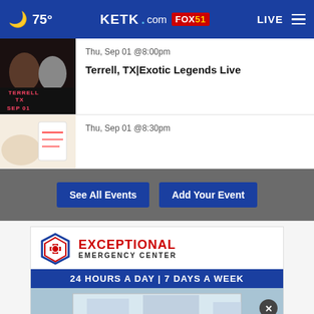🌙 75° KETK.com FOX51 LIVE ☰
[Figure (screenshot): Event thumbnail for Terrell TX Exotic Legends Live showing two people]
Thu, Sep 01 @8:00pm
Terrell, TX|Exotic Legends Live
[Figure (photo): Second event thumbnail showing white/cream colored items]
Thu, Sep 01 @8:30pm
See All Events
Add Your Event
[Figure (infographic): Exceptional Emergency Center advertisement - 24 Hours a Day 7 Days a Week]
[Figure (infographic): Peters Jeep advertisement - The New Jeep Cherokee Adventure Days]